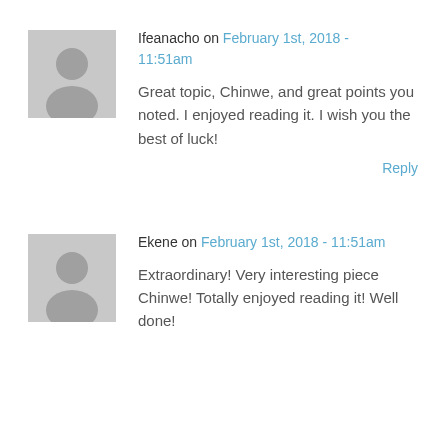Ifeanacho on February 1st, 2018 - 11:51am
Great topic, Chinwe, and great points you noted. I enjoyed reading it. I wish you the best of luck!
Reply
Ekene on February 1st, 2018 - 11:51am
Extraordinary! Very interesting piece Chinwe! Totally enjoyed reading it! Well done!